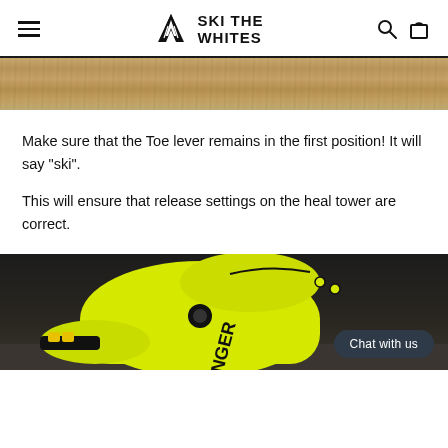SKI THE WHITES
[Figure (photo): Tan/wood grain textured banner strip]
Make sure that the Toe lever remains in the first position! It will say "ski".
This will ensure that release settings on the heal tower are correct.
[Figure (photo): Close-up photo of a bright yellow ski boot labeled INGER on a concrete surface, with black bindings/hardware visible. A dark rounded 'Chat with us' button overlays the lower right.]